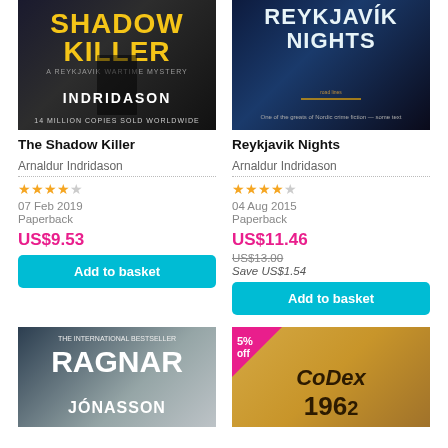[Figure (photo): Book cover of The Shadow Killer by Arnaldur Indridason - black and white with yellow text]
The Shadow Killer
Arnaldur Indridason
3.5 star rating
07 Feb 2019
Paperback
US$9.53
Add to basket
[Figure (photo): Book cover of Reykjavik Nights by Arnaldur Indridason - night cityscape]
Reykjavik Nights
Arnaldur Indridason
3.5 star rating
04 Aug 2015
Paperback
US$11.46
US$13.00
Save US$1.54
Add to basket
[Figure (photo): Book cover of a Ragnar Jonasson title - dark blue/grey tones]
[Figure (photo): Book cover of Codex 1962 with 5% off badge]